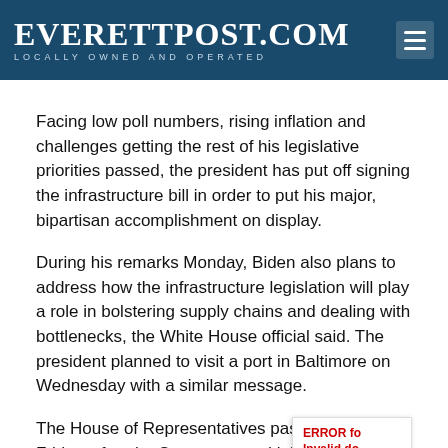EverettPost.com — Locally Owned and Operated
Facing low poll numbers, rising inflation and challenges getting the rest of his legislative priorities passed, the president has put off signing the infrastructure bill in order to put his major, bipartisan accomplishment on display.
During his remarks Monday, Biden also plans to address how the infrastructure legislation will play a role in bolstering supply chains and dealing with bottlenecks, the White House official said. The president planned to visit a port in Baltimore on Wednesday with a similar message.
The House of Representatives passed the bill late Friday, after the Senate passed it in August. Biden has said he wanted to hold a ceremony with members of Congress, who were on recess and out of Washington this week, as well as Vice President Kamala Harris, who